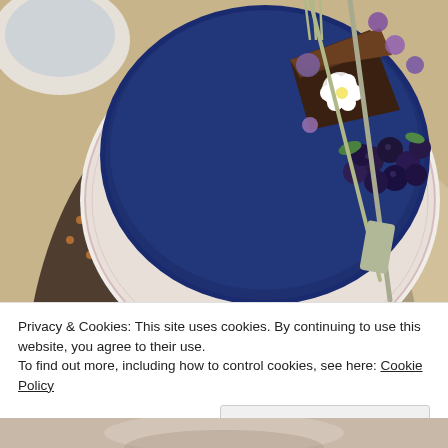[Figure (photo): Overhead view of a blue ceramic plate with blueberries, white and purple edible flowers, a chocolate cake slice, silver fork and spatula, on a burlap/linen cloth with a decorative dark plate underneath.]
Privacy & Cookies: This site uses cookies. By continuing to use this website, you agree to their use.
To find out more, including how to control cookies, see here: Cookie Policy
[Figure (photo): Partial bottom photo showing what appears to be a table setting, cut off at bottom of page.]